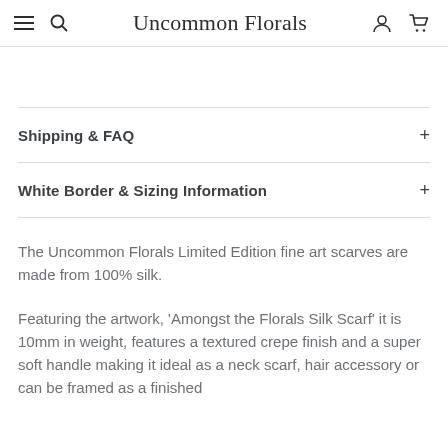☰ Q  Uncommon Florals  ○ ⌐
Shipping & FAQ
White Border & Sizing Information
The Uncommon Florals Limited Edition fine art scarves are made from 100% silk.
Featuring the artwork, 'Amongst the Florals Silk Scarf' it is 10mm in weight, features a textured crepe finish and a super soft handle making it ideal as a neck scarf, hair accessory or can be framed as a finished